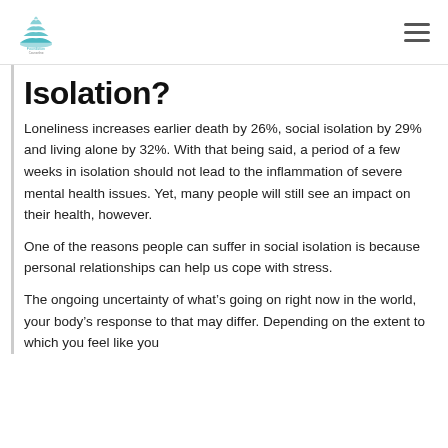Foundation [logo]
Isolation?
Loneliness increases earlier death by 26%, social isolation by 29% and living alone by 32%. With that being said, a period of a few weeks in isolation should not lead to the inflammation of severe mental health issues. Yet, many people will still see an impact on their health, however.
One of the reasons people can suffer in social isolation is because personal relationships can help us cope with stress.
The ongoing uncertainty of what’s going on right now in the world, your body’s response to that may differ. Depending on the extent to which you feel like you